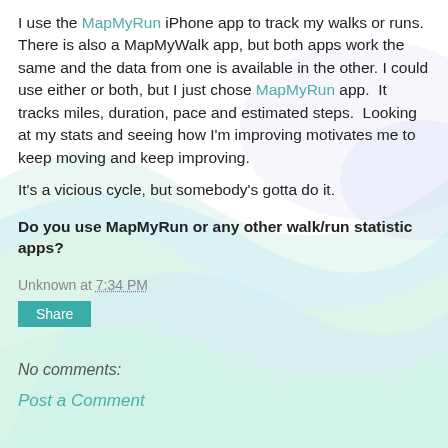I use the MapMyRun iPhone app to track my walks or runs. There is also a MapMyWalk app, but both apps work the same and the data from one is available in the other. I could use either or both, but I just chose MapMyRun app. It tracks miles, duration, pace and estimated steps. Looking at my stats and seeing how I'm improving motivates me to keep moving and keep improving.
It's a vicious cycle, but somebody's gotta do it.
Do you use MapMyRun or any other walk/run statistic apps?
Unknown at 7:34 PM
Share
No comments:
Post a Comment